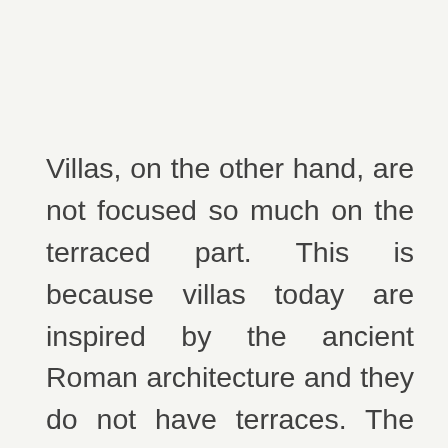Villas, on the other hand, are not focused so much on the terraced part. This is because villas today are inspired by the ancient Roman architecture and they do not have terraces. The villa is more of a compound where gardens and landscapes are emphasized. The surroundings of a villa are breathtaking. It has amazing views of landscapes and gardens. The villa is located in places where there are not crowds. A villa is a form of townhouse in the times of ancient Rome. It is constructed for people who were part of the aristocracy and are usually located in capital cities. Many wealthy